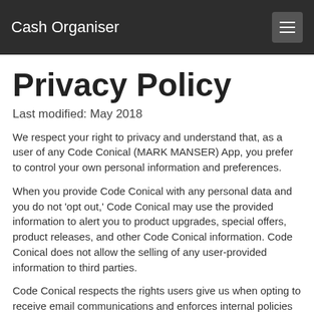Cash Organiser
Privacy Policy
Last modified: May 2018
We respect your right to privacy and understand that, as a user of any Code Conical (MARK MANSER) App, you prefer to control your own personal information and preferences.
When you provide Code Conical with any personal data and you do not 'opt out,' Code Conical may use the provided information to alert you to product upgrades, special offers, product releases, and other Code Conical information. Code Conical does not allow the selling of any user-provided information to third parties.
Code Conical respects the rights users give us when opting to receive email communications and enforces internal policies to preserve those rights. It is our objective to retain the long-term ability to continue to communicate with our users.